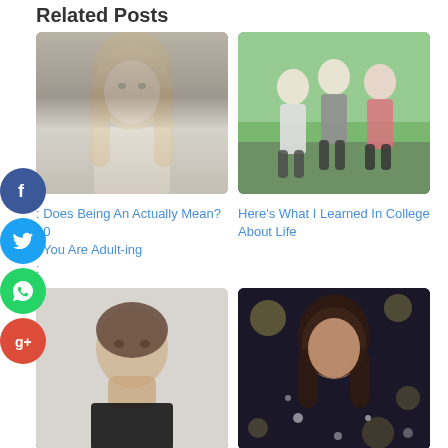Related Posts
[Figure (photo): Portrait of a young blonde woman with long wavy hair, wearing a white top, against a stone wall background]
[Figure (photo): Three women jumping joyfully on a grass field with trees in background]
: Does Being An Actually Mean? 10 : You Are Adult-ing :
Here's What I Learned In College About Life
[Figure (photo): Young man with brown hair resting chin on fist, looking thoughtful, against white background]
[Figure (photo): Young woman with dark curly hair surrounded by bokeh lights, night scene]